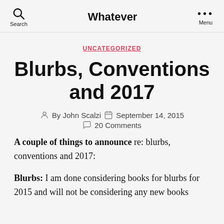Whatever
UNCATEGORIZED
Blurbs, Conventions and 2017
By John Scalzi  September 14, 2015
20 Comments
A couple of things to announce re: blurbs, conventions and 2017:
Blurbs: I am done considering books for blurbs for 2015 and will not be considering any new books